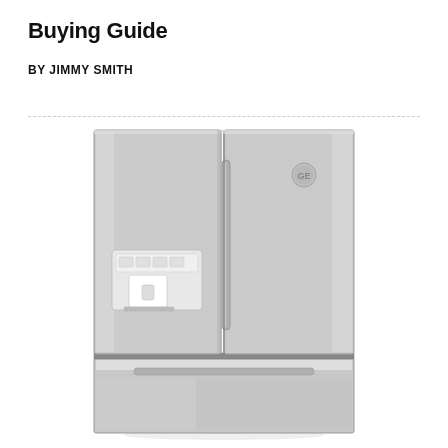Buying Guide
BY JIMMY SMITH
[Figure (illustration): Front view of a stainless steel French door refrigerator with two upper doors and a bottom freezer drawer. The left upper door features a water/ice dispenser with a white control panel and dispenser nozzle. A vertical handle runs along the center-right of the upper section. A small circular GE logo appears on the right upper door.]